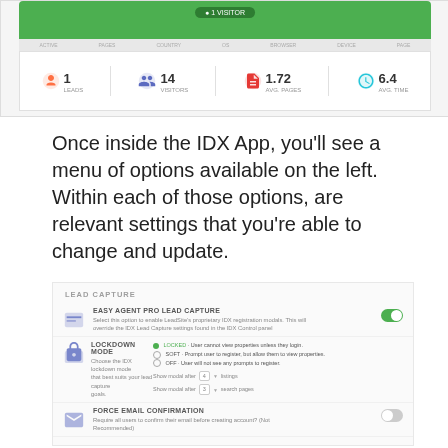[Figure (screenshot): Screenshot of IDX App analytics dashboard showing green header with '1 visitor' badge, and stats row with 1 LEADS, 14 VISITORS, 1.72 AVG. PAGES, 6.4 AVG. TIME]
Once inside the IDX App, you’ll see a menu of options available on the left.  Within each of those options, are relevant settings that you’re able to change and update.
[Figure (screenshot): Screenshot of IDX Lead Capture settings UI showing: LEAD CAPTURE section header, EASY AGENT PRO LEAD CAPTURE toggle (on), LOCKDOWN MODE with three radio options (LOCKED, SOFT, OFF) and modal show settings, FORCE EMAIL CONFIRMATION toggle (off)]